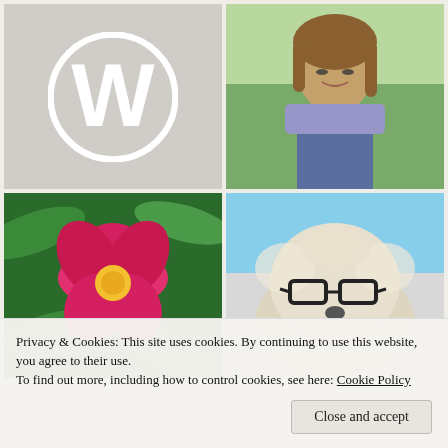[Figure (logo): WordPress logo – white W in a circle on grey background]
[Figure (photo): Woman with glasses smiling outdoors in a garden, wearing a colourful scarf and grey jacket]
[Figure (photo): Pink flower (rose) with yellow centre surrounded by green leaves]
[Figure (photo): Fluffy white/cream dog wearing large black-framed glasses]
Privacy & Cookies: This site uses cookies. By continuing to use this website, you agree to their use.
To find out more, including how to control cookies, see here: Cookie Policy
Close and accept